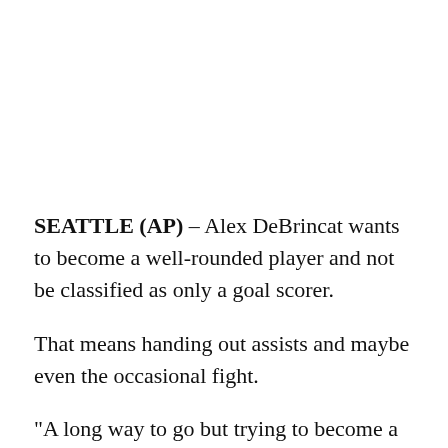SEATTLE (AP) – Alex DeBrincat wants to become a well-rounded player and not be classified as only a goal scorer.
That means handing out assists and maybe even the occasional fight.
"A long way to go but trying to become a more complete player, not just a shooter. Just keep working on it," DeBrincat said.